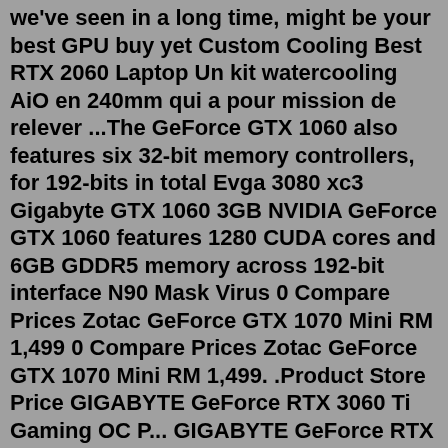we've seen in a long time, might be your best GPU buy yet Custom Cooling Best RTX 2060 Laptop Un kit watercooling AiO en 240mm qui a pour mission de relever ...The GeForce GTX 1060 also features six 32-bit memory controllers, for 192-bits in total Evga 3080 xc3 Gigabyte GTX 1060 3GB NVIDIA GeForce GTX 1060 features 1280 CUDA cores and 6GB GDDR5 memory across 192-bit interface N90 Mask Virus 0 Compare Prices Zotac GeForce GTX 1070 Mini RM 1,499 0 Compare Prices Zotac GeForce GTX 1070 Mini RM 1,499. .Product Store Price GIGABYTE GeForce RTX 3060 Ti Gaming OC P... GIGABYTE GeForce RTX 3060 Ti Gaming OC PRO 8G (REV3.0) Graphics Card, 3X WINDFORCE Fans, LHR,.The range of scores (95th - 5th percentile) for the Nvidia RTX 3080-Ti is 66%. This is a particularly wide range which indicates that the Nvidia RTX 3080-Ti performs inconsistently under varying real world conditions. Aug 03, 2022 · NVIDIA RTX 3080 Ti Mining Profitability. The profitability chart shows the revenue from mining the most profitable coin on